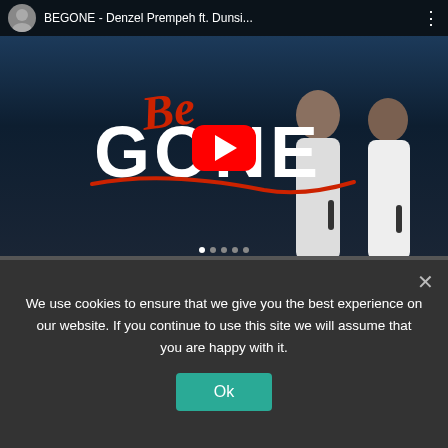[Figure (screenshot): YouTube video thumbnail for 'BEGONE - Denzel Prempeh ft. Dunsi...' showing two performers singing on stage with 'Be Gone' text overlay and YouTube play button]
Lyrics: Denzel Prempeh – Be Gone
Be Gone, Be Gone
We use cookies to ensure that we give you the best experience on our website. If you continue to use this site we will assume that you are happy with it.